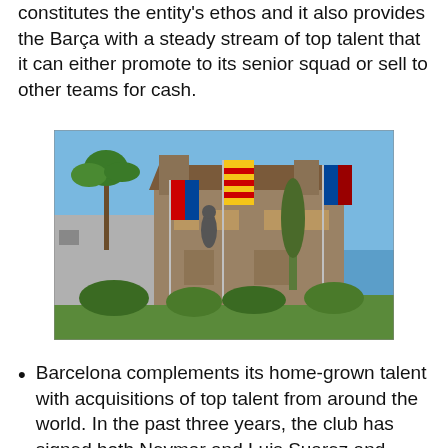constitutes the entity's ethos and it also provides the Barça with a steady stream of top talent that it can either promote to its senior squad or sell to other teams for cash.
[Figure (photo): A stone building with flags in front including the Catalan flag (red and yellow stripes) and FC Barcelona flag, surrounded by palm trees and Mediterranean vegetation under a blue sky. Likely La Masia, FC Barcelona's famous youth academy.]
Barcelona complements its home-grown talent with acquisitions of top talent from around the world. In the past three years, the club has signed both Neymar and Luis Suarez and these two players have combined with Messi to create the most lethal attacking trio in the history of